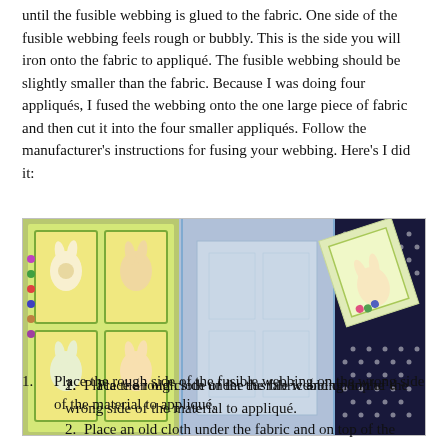until the fusible webbing is glued to the fabric. One side of the fusible webbing feels rough or bubbly. This is the side you will iron onto the fabric to appliqué. The fusible webbing should be slightly smaller than the fabric. Because I was doing four appliqués, I fused the webbing onto the one large piece of fabric and then cut it into the four smaller appliqués. Follow the manufacturer's instructions for fusing your webbing. Here's I did it:
[Figure (photo): Three-panel photo showing: left panel - colorful fabric with four bunny/Easter appliqué panels arranged in a 2x2 grid on yellow background; middle panel - translucent fusible webbing sheet laid over the fabric; right panel - a cut appliqué piece on dark polka dot fabric background.]
1. Place the rough side of the fusible webbing on the wrong side of the material to appliqué.
2. Place an old cloth under the fabric and on top of the fusible webbing to protect the iron...